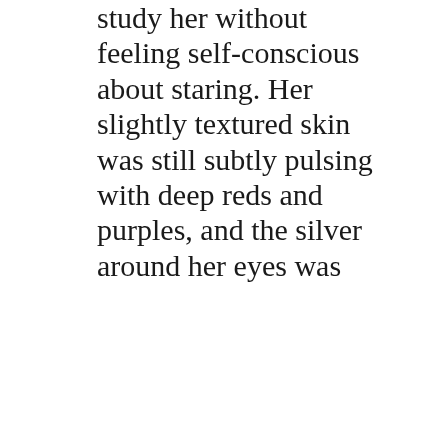study her without feeling self-conscious about staring. Her slightly textured skin was still subtly pulsing with deep reds and purples, and the silver around her eyes was